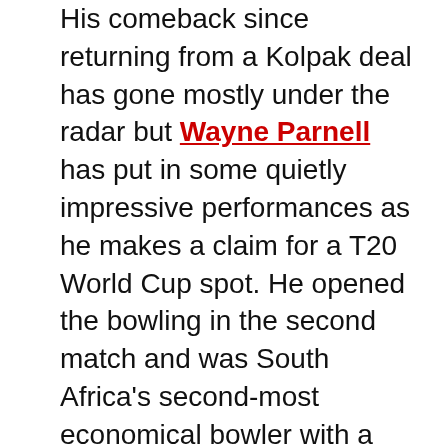His comeback since returning from a Kolpak deal has gone mostly under the radar but Wayne Parnell has put in some quietly impressive performances as he makes a claim for a T20 World Cup spot. He opened the bowling in the second match and was South Africa's second-most economical bowler with a return of 1 for 23 in four overs and batted for the first time in the third match, where he scored an unbeaten 18-ball 22. With South Africa's combination accommodating two seam-bowling allrounders at the moment, and Dwaine Pretorius establishing himself as a top-order pinch-hitter, Parnell has an opportunity to make the lower-order finisher's job his.
Shreyas Iyer has got starts in every match